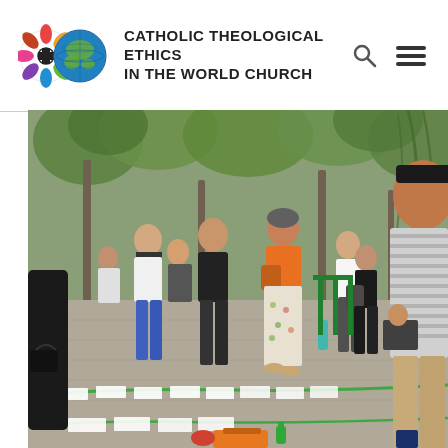CATHOLIC THEOLOGICAL ETHICS IN THE WORLD CHURCH
[Figure (photo): Outdoor scene in a park with a crowd of people standing along a tree-lined path. Several people appear to be praying or looking downward. Papers are laid out on the ground along a green rope/line. A woman in an orange top and floral skirt stands prominently in the center. A man in a striped shirt stands to the right. Trees with green foliage are visible in the background.]